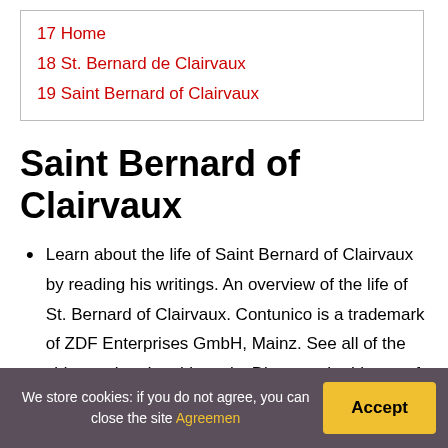17 Home
18 St. Bernard de Clairvaux
19 Saint Bernard of Clairvaux
Saint Bernard of Clairvaux
Learn about the life of Saint Bernard of Clairvaux by reading his writings. An overview of the life of St. Bernard of Clairvaux. Contunico is a trademark of ZDF Enterprises GmbH, Mainz. See all of the videos related to this topic. Discover the history of Clairvaux Abbey, as well as the origins of the Cistercian Order. Overview of Clairvaux Abbey in
We store cookies: if you do not agree, you can close the site Agreemen
Accept